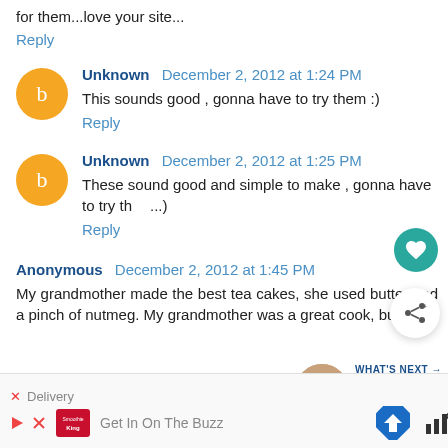for them...love your site...
Reply
Unknown  December 2, 2012 at 1:24 PM
This sounds good , gonna have to try them :)
Reply
Unknown  December 2, 2012 at 1:25 PM
These sound good and simple to make , gonna have to try th...)
Reply
Anonymous  December 2, 2012 at 1:45 PM
My grandmother made the best tea cakes, she used butter and a pinch of nutmeg. My grandmother was a great cook, but, she